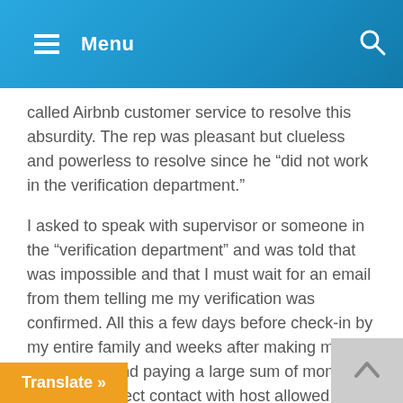Menu
called Airbnb customer service to resolve this absurdity. The rep was pleasant but clueless and powerless to resolve since he “did not work in the verification department.”
I asked to speak with supervisor or someone in the “verification department” and was told that was impossible and that I must wait for an email from them telling me my verification was confirmed. All this a few days before check-in by my entire family and weeks after making my reservation and paying a large sum of money. Thankfully direct contact with host allowed me to go around the Airbnb insanity confirm the reservation. To this day I have not received any verification confirmation from Airbnb. I
s company is so popular given its